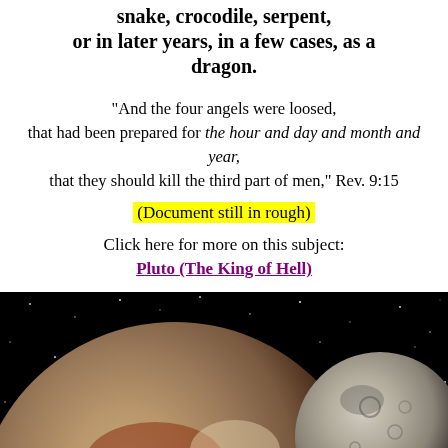snake, crocodile, serpent, or in later years, in a few cases, as a dragon.
"And the four angels were loosed, that had been prepared for the hour and day and month and year, that they should kill the third part of men," Rev. 9:15
(Document still in rough)
Click here for more on this subject: Pluto (The King of Hell)
[Figure (photo): Space scene showing two planetary bodies (Pluto and its moon Charon) against a black starry background. The larger body is in the foreground-left showing reddish-brown and white terrain, and a smaller grey cratered moon is visible on the right.]